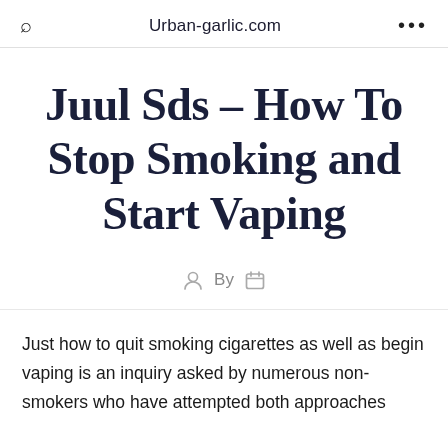Urban-garlic.com
Juul Sds – How To Stop Smoking and Start Vaping
By
Just how to quit smoking cigarettes as well as begin vaping is an inquiry asked by numerous non-smokers who have attempted both approaches